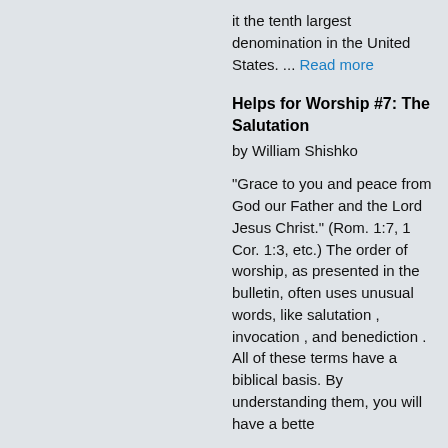it the tenth largest denomination in the United States. ... Read more
Helps for Worship #7: The Salutation
by William Shishko
"Grace to you and peace from God our Father and the Lord Jesus Christ." (Rom. 1:7, 1 Cor. 1:3, etc.) The order of worship, as presented in the bulletin, often uses unusual words, like salutation , invocation , and benediction . All of these terms have a biblical basis. By understanding them, you will have a better...